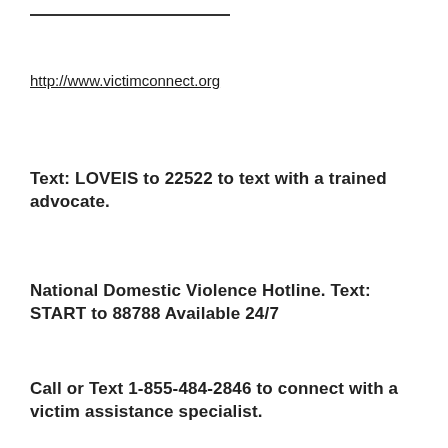http://www.victimconnect.org
Text: LOVEIS to 22522 to text with a trained advocate.
National Domestic Violence Hotline. Text: START to 88788 Available 24/7
Call or Text 1-855-484-2846 to connect with a victim assistance specialist.